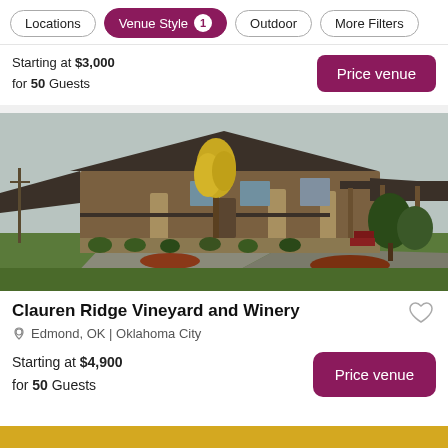Locations | Venue Style 1 | Outdoor | More Filters
Starting at $3,000 for 50 Guests
[Figure (photo): Exterior photo of Clauren Ridge Vineyard and Winery building with trees and landscaping]
Clauren Ridge Vineyard and Winery
Edmond, OK | Oklahoma City
Starting at $4,900 for 50 Guests